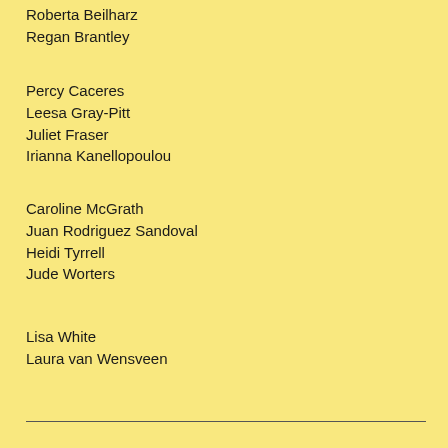Roberta Beilharz
Regan Brantley
Percy Caceres
Leesa Gray-Pitt
Juliet Fraser
Irianna Kanellopoulou
Caroline McGrath
Juan Rodriguez Sandoval
Heidi Tyrrell
Jude Worters
Lisa White
Laura van Wensveen